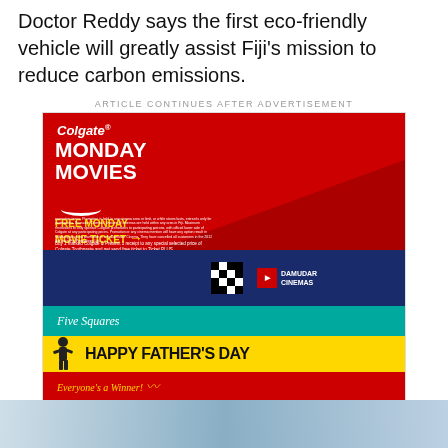Doctor Reddy says the first eco-friendly vehicle will greatly assist Fiji's mission to reduce carbon emissions.
ARTICLE CONTINUES AFTER ADVERTISEMENT
[Figure (photo): Colgate Monday Movies advertisement - red background with animated bunny character holding movie tickets and Colgate toothpaste. Text: FREE MONDAY MOVIE TICKET. Damudar Cinemas branding at bottom.]
[Figure (photo): Five Squares Happy Father's Day Sale advertisement. HAPPY FATHER'S DAY, Everyone's a Winner!, SALE SAVE UP TO 40% on selected products. TILES | WHITE GOODS | TOOLS | PAINTS | FURNITURE & MORE...]
[Figure (photo): Bottom partial image - appears to be a vehicle or car photo, partially visible]